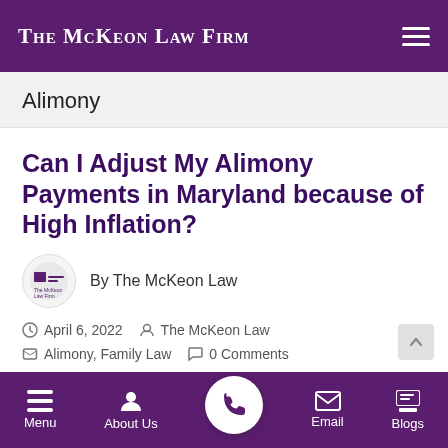The McKeon Law Firm
Alimony
Can I Adjust My Alimony Payments in Maryland because of High Inflation?
By The McKeon Law
April 6, 2022   The McKeon Law
Alimony, Family Law   0 Comments
Menu   About Us   Email   Blogs